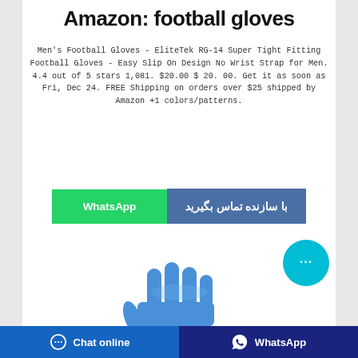Amazon: football gloves
Men's Football Gloves - EliteTek RG-14 Super Tight Fitting Football Gloves - Easy Slip On Design No Wrist Strap for Men. 4.4 out of 5 stars 1,081. $20.00 $ 20. 00. Get it as soon as Fri, Dec 24. FREE Shipping on orders over $25 shipped by Amazon +1 colors/patterns.
[Figure (screenshot): WhatsApp contact button (green) next to a Persian text button (blue-gray) reading 'با سازنده تماس بگیرید' (Contact the manufacturer)]
[Figure (photo): Blue football/sports glove showing fingers spread open]
Chat online | WhatsApp